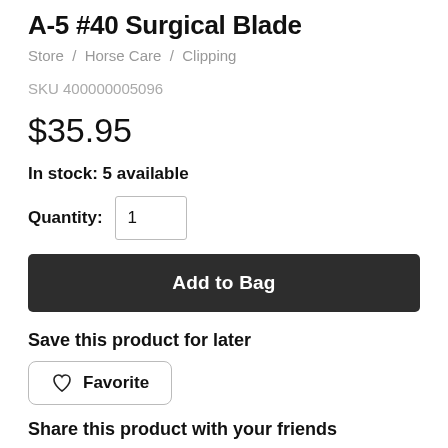A-5 #40 Surgical Blade
Store / Horse Care / Clipping
SKU 400000005096
$35.95
In stock: 5 available
Quantity: 1
Add to Bag
Save this product for later
Favorite
Share this product with your friends